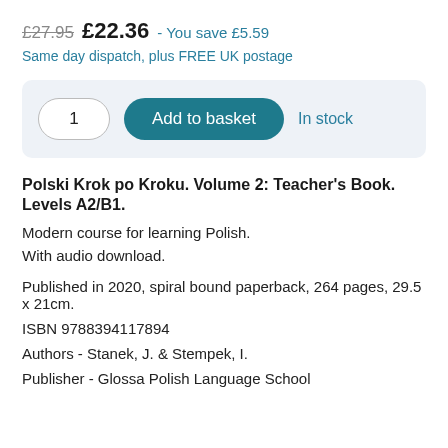£27.95 £22.36 - You save £5.59
Same day dispatch, plus FREE UK postage
1  Add to basket  In stock
Polski Krok po Kroku. Volume 2: Teacher's Book. Levels A2/B1.
Modern course for learning Polish.
With audio download.
Published in 2020, spiral bound paperback, 264 pages, 29.5 x 21cm.
ISBN 9788394117894
Authors - Stanek, J. & Stempek, I.
Publisher - Glossa Polish Language School